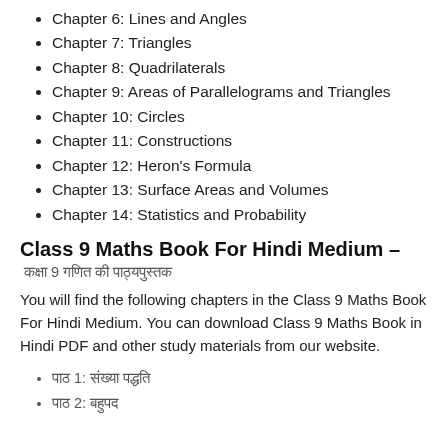Chapter 6: Lines and Angles
Chapter 7: Triangles
Chapter 8: Quadrilaterals
Chapter 9: Areas of Parallelograms and Triangles
Chapter 10: Circles
Chapter 11: Constructions
Chapter 12: Heron's Formula
Chapter 13: Surface Areas and Volumes
Chapter 14: Statistics and Probability
Class 9 Maths Book For Hindi Medium –
कक्षा 9 गणित की पाठ्यपुस्तक
You will find the following chapters in the Class 9 Maths Book For Hindi Medium. You can download Class 9 Maths Book in Hindi PDF and other study materials from our website.
पाठ 1: संख्या पद्धति
पाठ 2: बहुपद